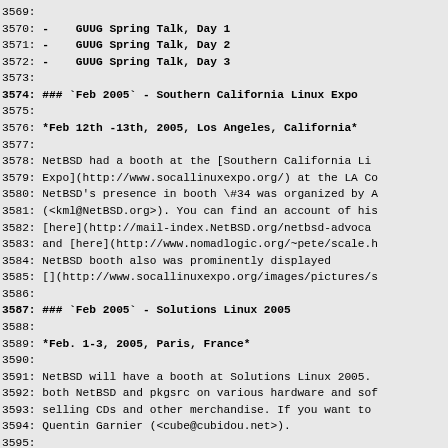3569:
3570: -    GUUG Spring Talk, Day 1
3571: -    GUUG Spring Talk, Day 2
3572: -    GUUG Spring Talk, Day 3
3573:
3574: ### `Feb 2005` - Southern California Linux Expo
3575:
3576: *Feb 12th -13th, 2005, Los Angeles, California*
3577:
3578: NetBSD had a booth at the [Southern California Li
3579: Expo](http://www.socallinuxexpo.org/) at the LA Co
3580: NetBSD's presence in booth \#34 was organized by A
3581: (<kml@NetBSD.org>). You can find an account of his
3582: [here](http://mail-index.NetBSD.org/netbsd-advoca
3583: and [here](http://www.nomadlogic.org/~pete/scale.h
3584: NetBSD booth also was prominently displayed
3585: [](http://www.socallinuxexpo.org/images/pictures/s
3586:
3587: ### `Feb 2005` - Solutions Linux 2005
3588:
3589: *Feb. 1-3, 2005, Paris, France*
3590:
3591: NetBSD will have a booth at Solutions Linux 2005.
3592: both NetBSD and pkgsrc on various hardware and sof
3593: selling CDs and other merchandise. If you want to
3594: Quentin Garnier (<cube@cubidou.net>).
3595:
3596: ### `Dec 2004` - 21st Chaos Communication Congress
3597:
3598: *Dec. 27 - 29, 2004, Berlin, Germany*